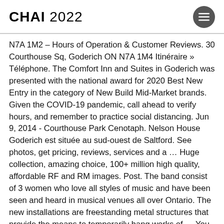CHAI 2022
N7A 1M2 – Hours of Operation & Customer Reviews. 30 Courthouse Sq, Goderich ON N7A 1M4 Itinéraire » Téléphone. The Comfort Inn and Suites in Goderich was presented with the national award for 2020 Best New Entry in the category of New Build Mid-Market brands. Given the COVID-19 pandemic, call ahead to verify hours, and remember to practice social distancing. Jun 9, 2014 - Courthouse Park Cenotaph. Nelson House Goderich est située au sud-ouest de Saltford. See photos, get pricing, reviews, services and a ... Huge collection, amazing choice, 100+ million high quality, affordable RF and RM images. Post. The band consist of 3 women who love all styles of music and have been seen and heard in musical venues all over Ontario. The new installations are freestanding metal structures that provide the means to temporarily hang works of ... You are here: Home; Courts; Court Addresses; Text: Larger | Smaller. George C. Newton Nature Reserve. Covent...